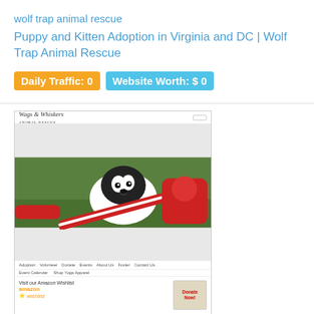wolf trap animal rescue
Puppy and Kitten Adoption in Virginia and DC | Wolf Trap Animal Rescue
Daily Traffic: 0
Website Worth: $ 0
[Figure (screenshot): Screenshot of the Wolf Trap Animal Rescue website showing a puppy chewing a rope toy, navigation menu, Amazon Wishlist section, and a Donate Now button. Siteprice.org badge visible at bottom.]
wagsmn.org